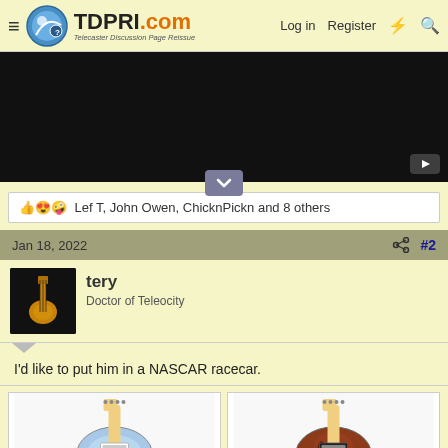TDPRI.com — Telecaster Discussion Page Reissue | Log in | Register
[Figure (screenshot): Embedded video player showing dark/black content with YouTube play button in bottom right corner]
👍 😍 🤪 Lef T, John Owen, ChicknPickn and 8 others
Jan 18, 2022   #2
[Figure (photo): User avatar for 'tery' showing a Telecaster guitar on dark background]
tery
Doctor of Teleocity
I'd like to put him in a NASCAR racecar.
[Figure (photo): Blue/white Fender Telecaster guitar with maple neck on white background]
[Figure (photo): Brown/red semi-hollow Fender Telecaster Thinline guitar with maple neck]